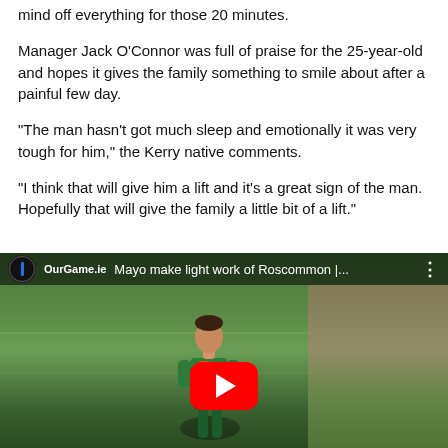mind off everything for those 20 minutes.
Manager Jack O'Connor was full of praise for the 25-year-old and hopes it gives the family something to smile about after a painful few day.
“The man hasn’t got much sleep and emotionally it was very tough for him,” the Kerry native comments.
“I think that will give him a lift and it’s a great sign of the man. Hopefully that will give the family a little bit of a lift.”
[Figure (screenshot): Embedded YouTube video thumbnail showing a GAA football player in a Mayo jersey (green with red stripe, number 12) on a pitch. The video title bar reads 'OurGame.ie  Mayo make light work of Roscommon |...' with a YouTube play button overlay in the center.]